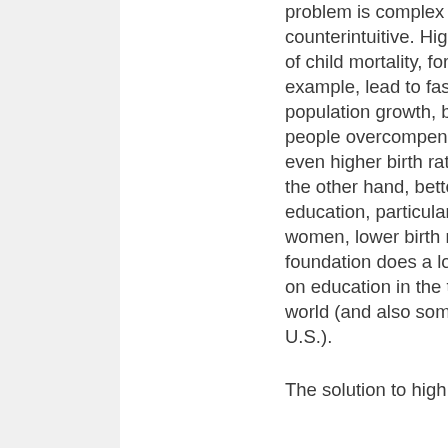problem is complex and counterintuitive. Higher rates of child mortality, for example, lead to faster population growth, because people overcompensate with even higher birth rates. On the other hand, better education, particularly of women, lower birth rate. The foundation does a lot of work on education in the third world (and also some in the U.S.).

The solution to high